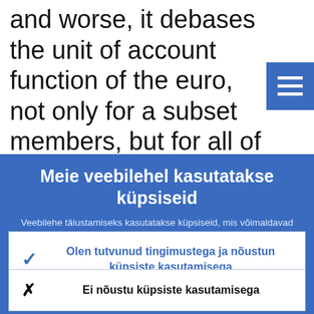and worse, it debases the unit of account function of the euro, not only for a subset members, but for all of them.
[Figure (screenshot): Cookie consent overlay in Estonian on a blue background]
Meie veebilehel kasutatakse küpsiseid
Veebilehe täiustamiseks kasutatakse küpsiseid, mis võimaldavad koguda anonüümseid andmeid.
Lähemalt küpsiste kasutamise kohta
Olen tutvunud tingimustega ja nõustun küpsiste kasutamisega
Ei nõustu küpsiste kasutamisega